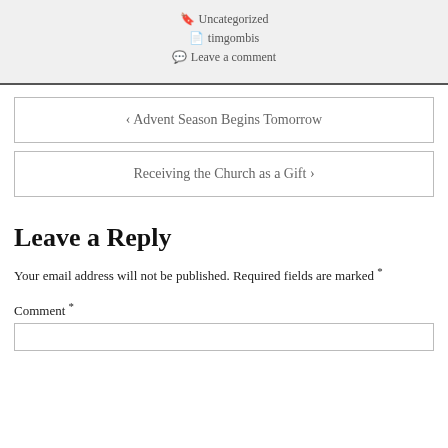Uncategorized
timgombis
Leave a comment
< Advent Season Begins Tomorrow
Receiving the Church as a Gift >
Leave a Reply
Your email address will not be published. Required fields are marked *
Comment *